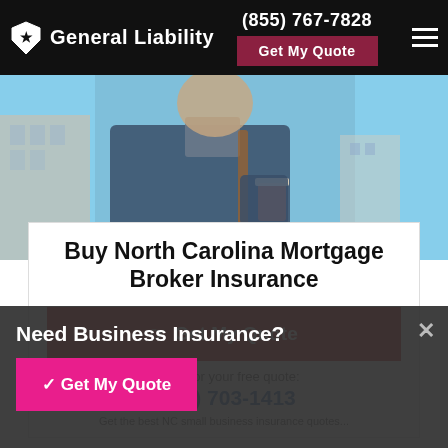General Liability | (855) 767-7828 | Get My Quote
[Figure (photo): A man in a blue jacket holding a coffee cup, walking outdoors in an urban setting with a blue sky background.]
Buy North Carolina Mortgage Broker Insurance
Get My Quote
Or call for your free quote:
(704) 703-1413
Get the best NC small business insurance quotes...
Need Business Insurance?
✓ Get My Quote